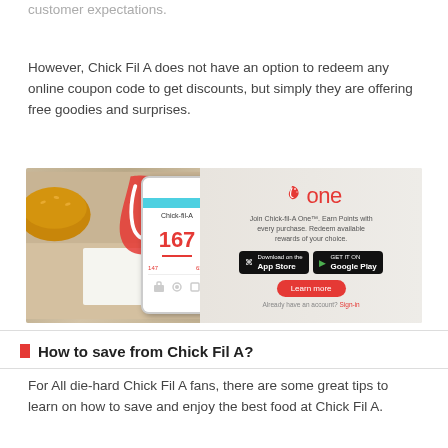customer-oriented reward program to ensure that it will exceed customer expectations.
However, Chick Fil A does not have an option to redeem any online coupon code to get discounts, but simply they are offering free goodies and surprises.
[Figure (photo): Chick-fil-A One app advertisement showing a smartphone with the app open displaying 167 points, alongside the Chick-fil-A One logo, description text, App Store and Google Play buttons, a Learn more button, and food items in the background.]
How to save from Chick Fil A?
For All die-hard Chick Fil A fans, there are some great tips to learn on how to save and enjoy the best food at Chick Fil A.